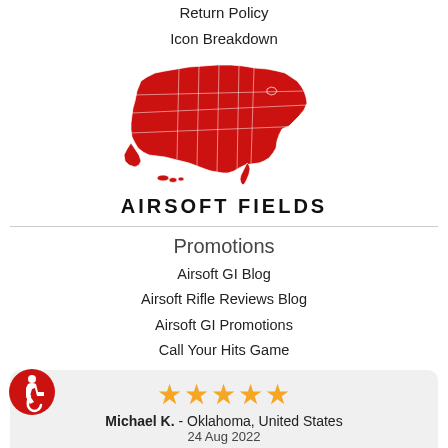Return Policy
Icon Breakdown
[Figure (illustration): Red silhouette map of the United States with white state borders]
AIRSOFT FIELDS
Promotions
Airsoft GI Blog
Airsoft Rifle Reviews Blog
Airsoft GI Promotions
Call Your Hits Game
★★★★★
Michael K.  - Oklahoma, United States
24 Aug 2022
Best Place to Shop for all Airsoft needs
[Figure (logo): Red circular accessibility icon with wheelchair user symbol]